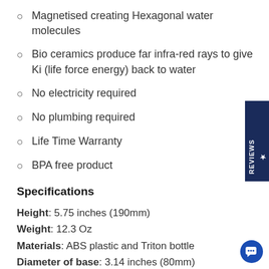Magnetised creating Hexagonal water molecules
Bio ceramics produce far infra-red rays to give Ki (life force energy) back to water
No electricity required
No plumbing required
Life Time Warranty
BPA free product
Specifications
Height: 5.75 inches (190mm)
Weight: 12.3 Oz
Materials: ABS plastic and Triton bottle
Diameter of base: 3.14 inches (80mm)